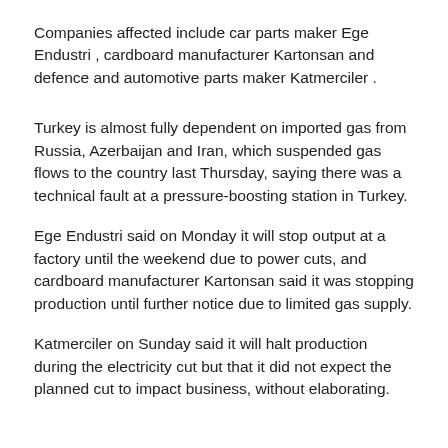Companies affected include car parts maker Ege Endustri , cardboard manufacturer Kartonsan and defence and automotive parts maker Katmerciler .
Turkey is almost fully dependent on imported gas from Russia, Azerbaijan and Iran, which suspended gas flows to the country last Thursday, saying there was a technical fault at a pressure-boosting station in Turkey.
Ege Endustri said on Monday it will stop output at a factory until the weekend due to power cuts, and cardboard manufacturer Kartonsan said it was stopping production until further notice due to limited gas supply.
Katmerciler on Sunday said it will halt production during the electricity cut but that it did not expect the planned cut to impact business, without elaborating.